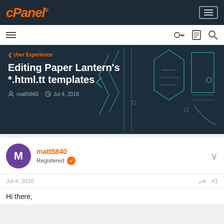cPanel
[Figure (screenshot): cPanel forum page showing article titled 'Editing Paper Lantern's *.html.tt templates' by matt5840, Jul 4, 2016]
Editing Paper Lantern's *.html.tt templates
matt5840 · Jul 4, 2016
matt5840
Registered
Jul 4, 2016    #1
Hi there,